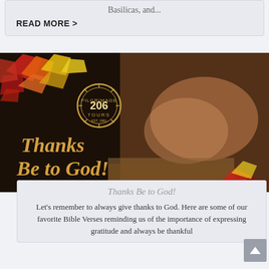Basilicas, and...
READ MORE >
[Figure (photo): A photograph showing clasped hands resting on a Bible with autumn leaves decorative overlay and a 206 Tours logo. Text overlay reads 'Thanks Be to God!' in italic golden serif font on dark background.]
Thanks Be to God!
Let's remember to always give thanks to God. Here are some of our favorite Bible Verses reminding us of the importance of expressing gratitude and always be thankful